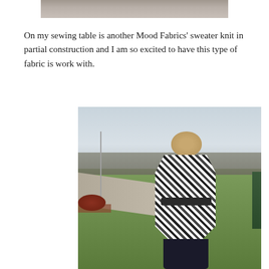[Figure (photo): Partial top portion of a photo showing outdoor scene, cropped from top of page]
On my sewing table is another Mood Fabrics' sweater knit in partial construction and I am so excited to have this type of fabric is work with.
[Figure (photo): Woman standing outdoors in a black and white patterned sweater knit jacket with a dark belt, black pants, short blonde hair, viewed from the side/back. Background shows green lawn, trees, driveway, and overcast sky.]